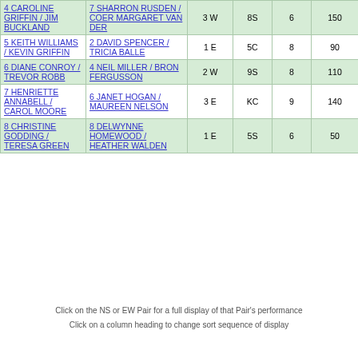| NS Pair | EW Pair | Cnt | Bd | R | Score |
| --- | --- | --- | --- | --- | --- |
| 4 CAROLINE GRIFFIN / JIM BUCKLAND | 7 SHARRON RUSDEN / COER MARGARET VAN DER | 3 W | 8S | 6 | 150 |  |
| 5 KEITH WILLIAMS / KEVIN GRIFFIN | 2 DAVID SPENCER / TRICIA BALLE | 1 E | 5C | 8 |  | 90 |
| 6 DIANE CONROY / TREVOR ROBB | 4 NEIL MILLER / BRON FERGUSSON | 2 W | 9S | 8 |  | 110 |
| 7 HENRIETTE ANNABELL / CAROL MOORE | 6 JANET HOGAN / MAUREEN NELSON | 3 E | KC | 9 |  | 140 |
| 8 CHRISTINE GODDING / TERESA GREEN | 8 DELWYNNE HOMEWOOD / HEATHER WALDEN | 1 E | 5S | 6 | 50 |  |
Click on the NS or EW Pair for a full display of that Pair's performance
Click on a column heading to change sort sequence of display